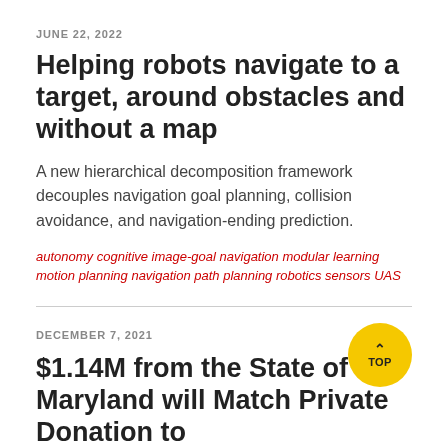JUNE 22, 2022
Helping robots navigate to a target, around obstacles and without a map
A new hierarchical decomposition framework decouples navigation goal planning, collision avoidance, and navigation-ending prediction.
autonomy cognitive image-goal navigation modular learning motion planning navigation path planning robotics sensors UAS
DECEMBER 7, 2021
$1.14M from the State of Maryland will Match Private Donation to